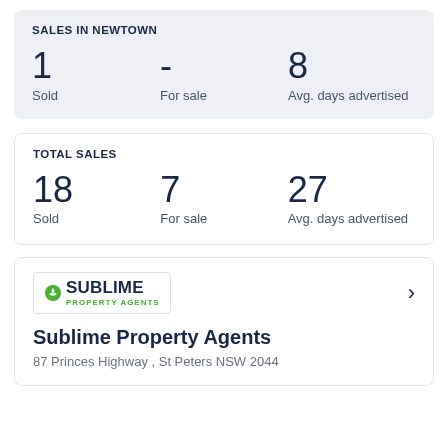SALES IN NEWTOWN
|  |  |  |
| --- | --- | --- |
| 1 | - | 8 |
| Sold | For sale | Avg. days advertised |
TOTAL SALES
|  |  |  |
| --- | --- | --- |
| 18 | 7 | 27 |
| Sold | For sale | Avg. days advertised |
[Figure (logo): Sublime Property Agents logo]
Sublime Property Agents
87 Princes Highway , St Peters NSW 2044